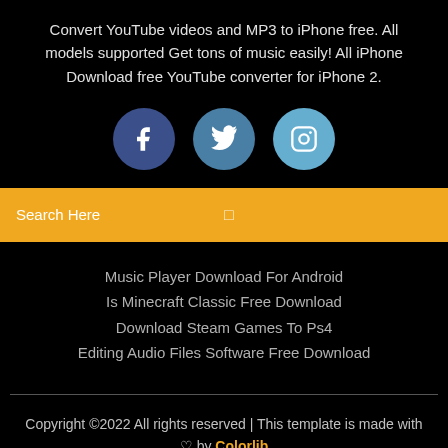Convert YouTube videos and MP3 to iPhone free. All models supported Get tons of music easily! All iPhone Download free YouTube converter for iPhone 2.
[Figure (infographic): Three social media icons in circles: Facebook (dark blue), Twitter (medium blue), Instagram (light blue)]
Search Here
Music Player Download For Android
Is Minecraft Classic Free Download
Download Steam Games To Ps4
Editing Audio Files Software Free Download
Copyright ©2022 All rights reserved | This template is made with ♡ by Colorlib